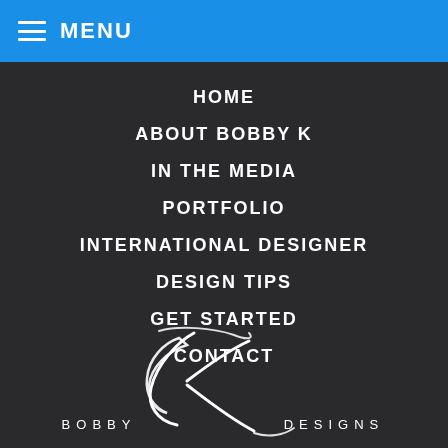MENU
HOME
ABOUT BOBBY K
IN THE MEDIA
PORTFOLIO
INTERNATIONAL DESIGNER
DESIGN TIPS
GET STARTED
CONTACT
[Figure (logo): Bobby K Designs logo with stylized cursive K and text BOBBY K DESIGNS]